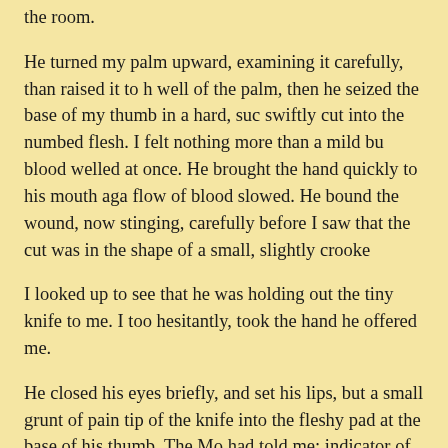the room.
He turned my palm upward, examining it carefully, than raised it to his well of the palm, then he seized the base of my thumb in a hard, such swiftly cut into the numbed flesh. I felt nothing more than a mild bur blood welled at once. He brought the hand quickly to his mouth agai flow of blood slowed. He bound the wound, now stinging, carefully before I saw that the cut was in the shape of a small, slightly crooke
I looked up to see that he was holding out the tiny knife to me. I too hesitantly, took the hand he offered me.
He closed his eyes briefly, and set his lips, but a small grunt of pain tip of the knife into the fleshy pad at the base of his thumb. The Mou had told me; indicator of passion and love.
It was only as I completed the small semicircular cut that I realized h hand.
"I should have taken the other," I said. "Your sword hilt will press or